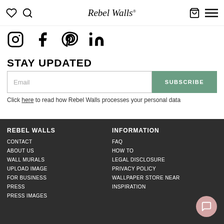Rebel Walls — navigation header with heart, search, cart, menu icons
[Figure (infographic): Social media icons row: Instagram, Facebook, Pinterest, LinkedIn]
STAY UPDATED
Email input field with SUBSCRIBE button
Click here to read how Rebel Walls processes your personal data
REBEL WALLS: CONTACT, ABOUT US, WALL MURALS, UPLOAD IMAGE, FOR BUSINESS, PRESS, PRESS IMAGES | INFORMATION: FAQ, HOW TO, LEGAL DISCLOSURE, PRIVACY POLICY, WALLPAPER STORE NEAR, INSPIRATION